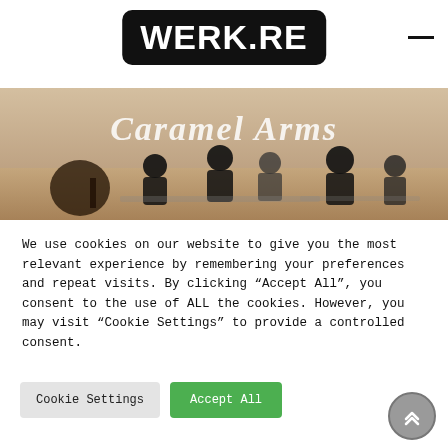[Figure (logo): WERK.RE logo in white bold text on black rounded rectangle background]
[Figure (photo): Black and white vintage photo of people sitting at tables inside a venue with 'Caramel Arms' text overlaid in script]
We use cookies on our website to give you the most relevant experience by remembering your preferences and repeat visits. By clicking “Accept All”, you consent to the use of ALL the cookies. However, you may visit “Cookie Settings” to provide a controlled consent.
Cookie Settings
Accept All